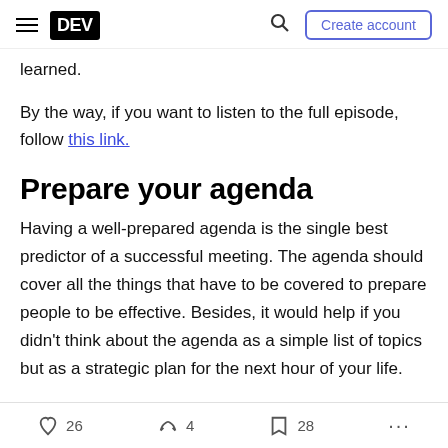DEV | Create account
learned.
By the way, if you want to listen to the full episode, follow this link.
Prepare your agenda
Having a well-prepared agenda is the single best predictor of a successful meeting. The agenda should cover all the things that have to be covered to prepare people to be effective. Besides, it would help if you didn't think about the agenda as a simple list of topics but as a strategic plan for the next hour of your life.
26 likes  4 unicorns  28 bookmarks